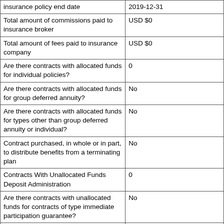| Field | Value |
| --- | --- |
| insurance policy end date | 2019-12-31 |
| Total amount of commissions paid to insurance broker | USD $0 |
| Total amount of fees paid to insurance company | USD $0 |
| Are there contracts with allocated funds for individual policies? | 0 |
| Are there contracts with allocated funds for group deferred annuity? | No |
| Are there contracts with allocated funds for types other than group deferred annuity or individual? | No |
| Contract purchased, in whole or in part, to distribute benefits from a terminating plan | No |
| Contracts With Unallocated Funds Deposit Administration | 0 |
| Are there contracts with unallocated funds for contracts of type immediate participation guarantee? | No |
| Are there contracts with unallocated funds for contracts of type guaranteed investment? | No |
| Are there contracts with unallocated funds for contract |  |